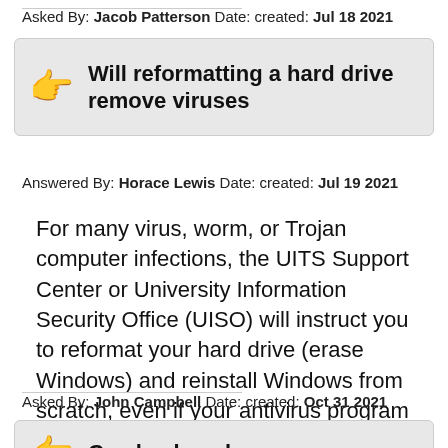Asked By: Jacob Patterson Date: created: Jul 18 2021
Will reformatting a hard drive remove viruses
Answered By: Horace Lewis Date: created: Jul 19 2021
For many virus, worm, or Trojan computer infections, the UITS Support Center or University Information Security Office (UISO) will instruct you to reformat your hard drive (erase Windows) and reinstall Windows from scratch, even if your antivirus program or other antiviral tools can remove the virus or delete the …
Asked By: John Campbell Date: created: Oct 31 2021
Can hackers hear you